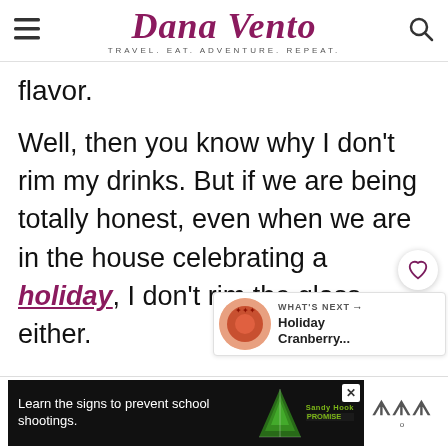Dana Vento — TRAVEL. EAT. ADVENTURE. REPEAT.
flavor.
Well, then you know why I don't rim my drinks. But if we are being totally honest, even when we are in the house celebrating a holiday, I don't rim the glass either.
[Figure (other): What's Next widget showing Holiday Cranberry... with a circular food image thumbnail]
[Figure (other): Advertisement banner: Learn the signs to prevent school shootings. Sandy Hook Promise logo with green tree.]